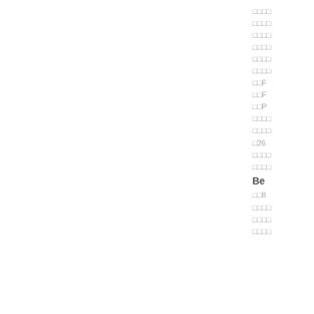□□□□
□□□□
□□□□
□□□□
□□□□
□□□□
□□F
□□F
□□P
□□□□
□□□□
□26
□□□□
□□□□
Be
□□8
□□□□
□□□□
□□□□